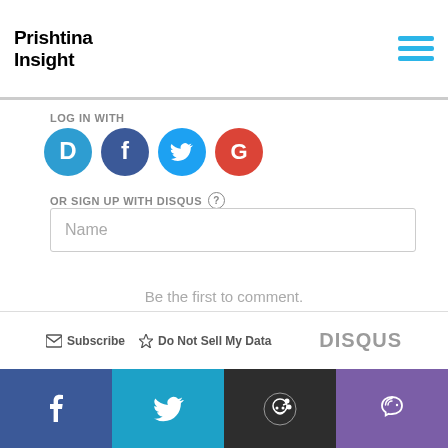Prishtina Insight
LOG IN WITH
[Figure (illustration): Four social login icons: Disqus (blue speech bubble with D), Facebook (dark blue circle with f), Twitter (light blue circle with bird), Google (red circle with G)]
OR SIGN UP WITH DISQUS ?
Name
Be the first to comment.
Subscribe   Do Not Sell My Data   DISQUS
[Figure (illustration): Social share bar with four colored sections: Facebook (dark blue), Twitter (cyan), Reddit (dark gray), Viber (purple)]